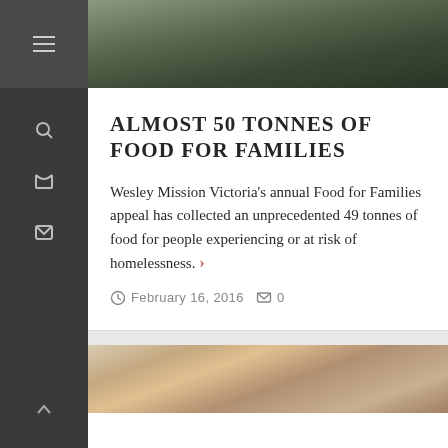[Figure (photo): Top portion of outdoor photo showing people carrying a sign, with greenery in background]
ALMOST 50 TONNES OF FOOD FOR FAMILIES
Wesley Mission Victoria's annual Food for Families appeal has collected an unprecedented 49 tonnes of food for people experiencing or at risk of homelessness.
February 16, 2016  0
[Figure (photo): Bottom photo showing two people, one elderly and one younger woman with blonde hair]